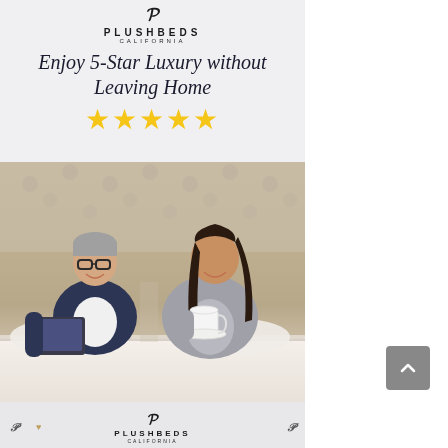[Figure (logo): PlushBeds California logo with stylized P emblem at top]
Enjoy 5-Star Luxury without Leaving Home
[Figure (illustration): Five gold star rating icons]
[Figure (photo): Couple sitting on a luxury PlushBeds mattress. Man wearing glasses and dark jacket holds a laptop/book; woman in grey robe holds a coffee cup and saucer. They are smiling at each other with a tufted headboard in the background.]
[Figure (logo): PlushBeds California logo repeated at bottom of advertisement with side P emblems]